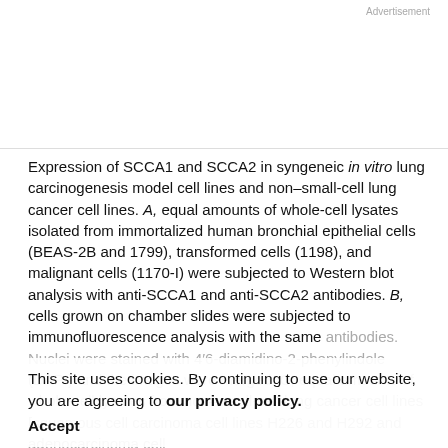Advertisement
Expression of SCCA1 and SCCA2 in syngeneic in vitro lung carcinogenesis model cell lines and non–small-cell lung cancer cell lines. A, equal amounts of whole-cell lysates isolated from immortalized human bronchial epithelial cells (BEAS-2B and 1799), transformed cells (1198), and malignant cells (1170-I) were subjected to Western blot analysis with anti-SCCA1 and anti-SCCA2 antibodies. B, cells grown on chamber slides were subjected to immunofluorescence analysis with the same antibodies. Nuclei were stained with 4′6-diamidino-2-phenylindole (DAPI) and the images were merged. C, equal amounts of whole-cell lysates from non–small-cell lung cancer cell lines [squamous cell carcinoma cell lines H226 and H292 and adenocarcinoma cell
This site uses cookies. By continuing to use our website, you are agreeing to our privacy policy.
Accept